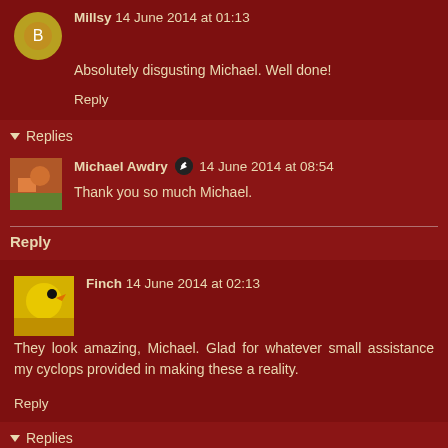Millsy 14 June 2014 at 01:13
Absolutely disgusting Michael. Well done!
Reply
Replies
Michael Awdry 14 June 2014 at 08:54
Thank you so much Michael.
Reply
Finch 14 June 2014 at 02:13
They look amazing, Michael. Glad for whatever small assistance my cyclops provided in making these a reality.
Reply
Replies
Michael Awdry 14 June 2014 at 08:55